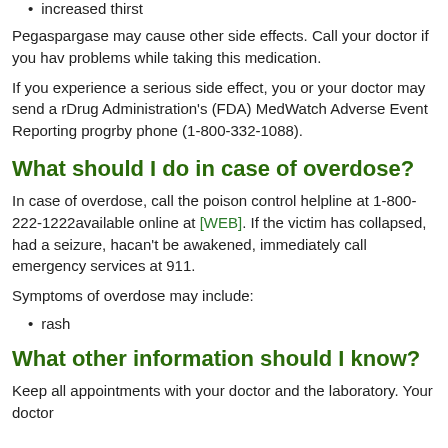increased thirst
Pegaspargase may cause other side effects. Call your doctor if you have any unusual problems while taking this medication.
If you experience a serious side effect, you or your doctor may send a report to the Food and Drug Administration's (FDA) MedWatch Adverse Event Reporting program online or by phone (1-800-332-1088).
What should I do in case of overdose?
In case of overdose, call the poison control helpline at 1-800-222-1222. Information is also available online at [WEB]. If the victim has collapsed, had a seizure, has trouble breathing, or can't be awakened, immediately call emergency services at 911.
Symptoms of overdose may include:
rash
What other information should I know?
Keep all appointments with your doctor and the laboratory. Your doctor